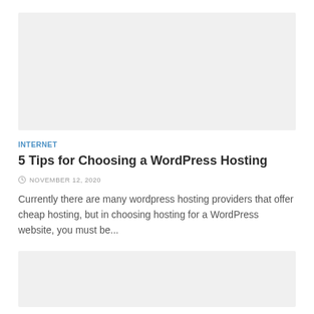[Figure (photo): Top image placeholder block with light gray background]
INTERNET
5 Tips for Choosing a WordPress Hosting
NOVEMBER 12, 2020
Currently there are many wordpress hosting providers that offer cheap hosting, but in choosing hosting for a WordPress website, you must be...
[Figure (photo): Bottom image placeholder block with light gray background]